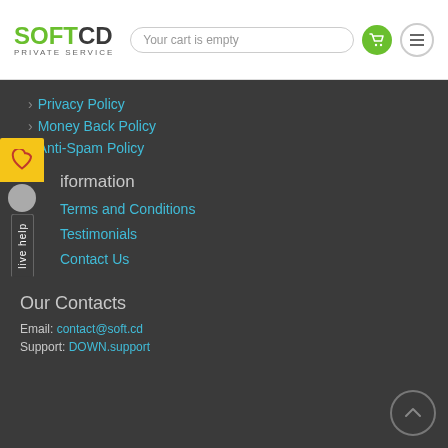SOFTCD PRIVATE SERVICE — Your cart is empty
Privacy Policy
Money Back Policy
Anti-Spam Policy
Information
Terms and Conditions
Testimonials
Contact Us
Our Contacts
Email: contact@soft.cd
Support: DOWN.support